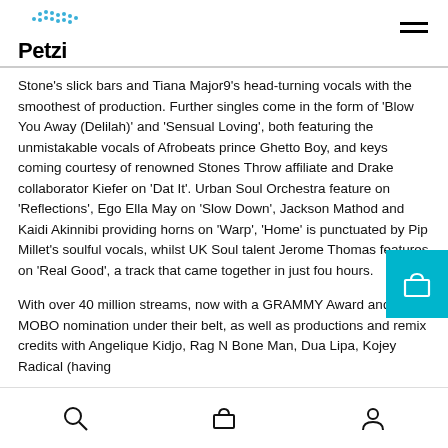Petzi
Stone's slick bars and Tiana Major9's head-turning vocals with the smoothest of production. Further singles come in the form of 'Blow You Away (Delilah)' and 'Sensual Loving', both featuring the unmistakable vocals of Afrobeats prince Ghetto Boy, and keys coming courtesy of renowned Stones Throw affiliate and Drake collaborator Kiefer on 'Dat It'. Urban Soul Orchestra feature on 'Reflections', Ego Ella May on 'Slow Down', Jackson Mathod and Kaidi Akinnibi providing horns on 'Warp', 'Home' is punctuated by Pip Millet's soulful vocals, whilst UK Soul talent Jerome Thomas features on 'Real Good', a track that came together in just four hours.
With over 40 million streams, now with a GRAMMY Award and a MOBO nomination under their belt, as well as productions and remix credits with Angelique Kidjo, Rag N Bone Man, Dua Lipa, Kojey Radical (having